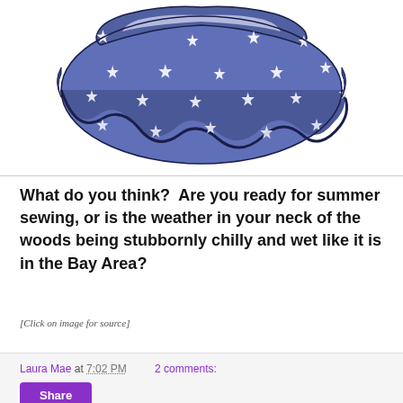[Figure (illustration): A blue star-patterned fabric skirt or circular ruffle piece with white stars on a dark blue background, shown from above/side angle against a white background.]
What do you think?  Are you ready for summer sewing, or is the weather in your neck of the woods being stubbornly chilly and wet like it is in the Bay Area?
[Click on image for source]
Laura Mae at 7:02 PM   2 comments:   Share